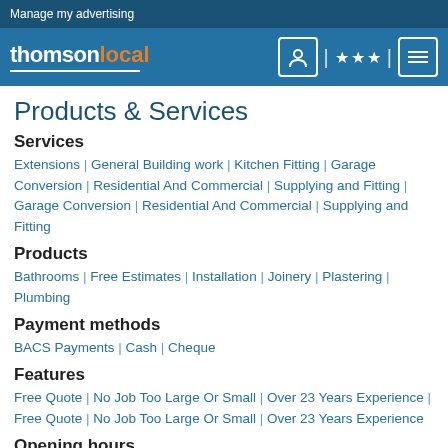Manage my advertising
[Figure (logo): Thomson Local logo with navigation icons (person/location, stars, menu) on blue background]
Products & Services
Services
Extensions | General Building work | Kitchen Fitting | Garage Conversion | Residential And Commercial | Supplying and Fitting | Garage Conversion | Residential And Commercial | Supplying and Fitting
Products
Bathrooms | Free Estimates | Installation | Joinery | Plastering | Plumbing
Payment methods
BACS Payments | Cash | Cheque
Features
Free Quote | No Job Too Large Or Small | Over 23 Years Experience | Free Quote | No Job Too Large Or Small | Over 23 Years Experience
Opening hours
Mon - Sun: 9:00am-17:30pm | Mon - Sun: 9:00am-17:30pm